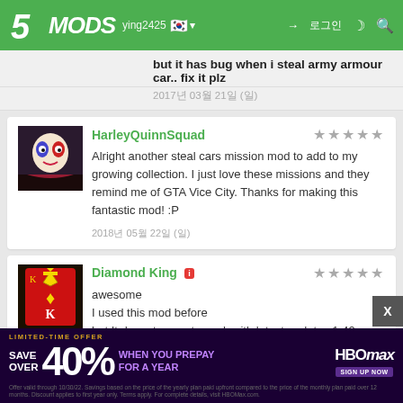5MODS - [username] 🇰🇷 ▾ — 로그인 — [icons]
but it has bug when i steal army armour car.. fix it plz
2017년 03월 21일 (일)
HarleyQuinnSquad — ★★★★★
Alright another steal cars mission mod to add to my growing collection. I just love these missions and they remind me of GTA Vice City. Thanks for making this fantastic mod! :P
2018년 05월 22일 (일)
Diamond King [i] — ★★★★★
awesome
I used this mod before
but It doesnt seem to work with latest updates 1.42 (doomsday) and 1.43 (southern san andreas). please update it
[Figure (screenshot): HBO Max advertisement banner: LIMITED-TIME OFFER - SAVE OVER 40% WHEN YOU PREPAY FOR A YEAR. Dark purple background with HBO Max logo and sign up now button. Fine print below.]